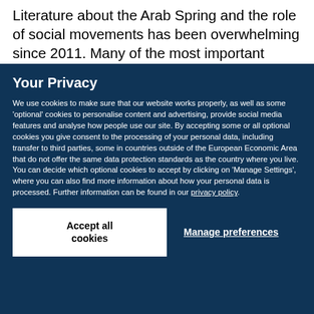Literature about the Arab Spring and the role of social movements has been overwhelming since 2011. Many of the most important contributions
Your Privacy
We use cookies to make sure that our website works properly, as well as some 'optional' cookies to personalise content and advertising, provide social media features and analyse how people use our site. By accepting some or all optional cookies you give consent to the processing of your personal data, including transfer to third parties, some in countries outside of the European Economic Area that do not offer the same data protection standards as the country where you live. You can decide which optional cookies to accept by clicking on 'Manage Settings', where you can also find more information about how your personal data is processed. Further information can be found in our privacy policy.
Accept all cookies
Manage preferences